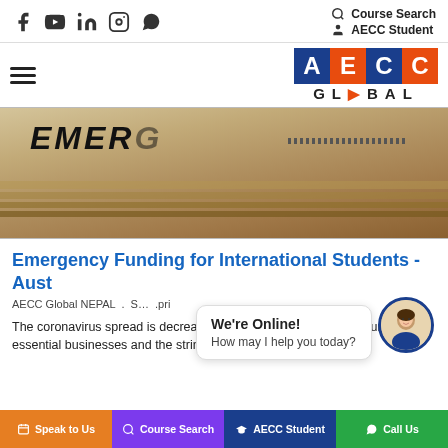Course Search | AECC Student
[Figure (logo): AECC Global logo with colored letter blocks A (blue), E (orange), C (blue), C (orange) and GLOBAL text below]
[Figure (photo): Close-up photo of envelopes/papers with EMERG text visible (emergency funding documents)]
Emergency Funding for International Students - Aust
AECC Global NEPAL . S ... .pri
The coronavirus spread is decreasing extensively due to the closure of non-essential businesses and the stringent travel
[Figure (infographic): Chat widget showing 'We're Online! How may I help you today?' with female avatar icon]
Speak to Us | Course Search | AECC Student | Call Us